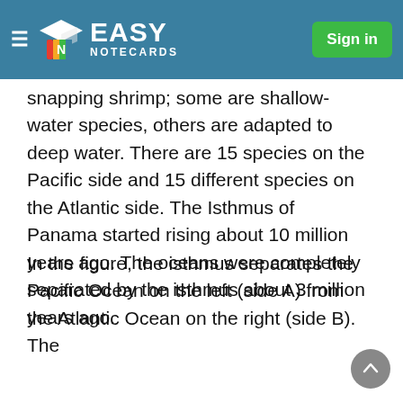Easy Notecards – Sign in
snapping shrimp; some are shallow-water species, others are adapted to deep water. There are 15 species on the Pacific side and 15 different species on the Atlantic side. The Isthmus of Panama started rising about 10 million years ago. The oceans were completely separated by the isthmus about 3 million years ago.
In the figure, the isthmus separates the Pacific Ocean on the left (side A) from the Atlantic Ocean on the right (side B). The